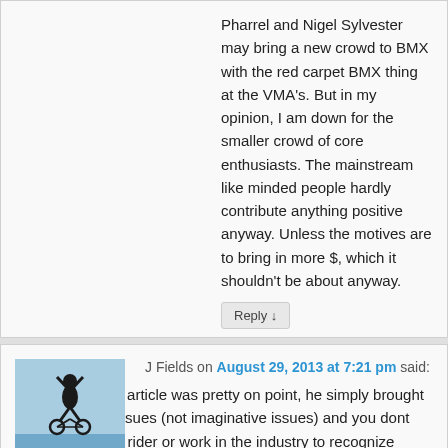Pharrel and Nigel Sylvester may bring a new crowd to BMX with the red carpet BMX thing at the VMA's. But in my opinion, I am down for the smaller crowd of core enthusiasts. The mainstream like minded people hardly contribute anything positive anyway. Unless the motives are to bring in more $, which it shouldn't be about anyway.
Reply ↓
J Fields on August 29, 2013 at 7:21 pm said:
I thought Dave's article was pretty on point, he simply brought up a lot of real issues (not imaginative issues) and you dont have to be a pro rider or work in the industry to recognize these problems. The points he addressed can be great topics for thoughts or discussions.
And I can absolutely say that if it wasnt for me